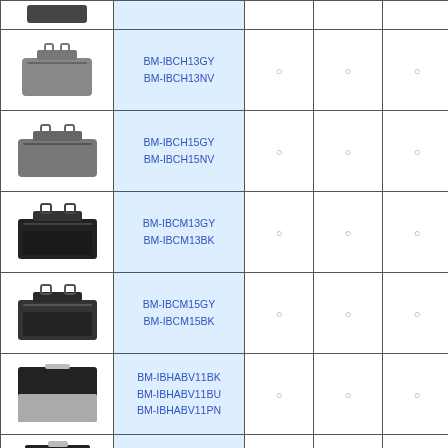| Image | Model | Col3 | Col4 | Col5 |
| --- | --- | --- | --- | --- |
| [bag image] | BM-IBCH13GY
BM-IBCH13NV | ○ | ○ | ○ |
| [bag image] | BM-IBCH15GY
BM-IBCH15NV | ○ | ○ | ○ |
| [bag image] | BM-IBCM13GY
BM-IBCM13BK | ○ | ○ | ○ |
| [bag image] | BM-IBCM15GY
BM-IBCM15BK | ○ | ○ | ○ |
| [bag image] | BM-IBHABV11BK
BM-IBHABV11BU
BM-IBHABV11PN | ○ | ○ | ○ |
| [bag image] | BM-IBHWSV11BK
BM-IBHWSV11BU
BM-IBHWSV11PN | ○ | ○ | ○ |
| [bag image] | BM-IBHBBV11BK
BM-IBHBBV11BU
BM-IBHBBV11PN | ○ | ○ | ○ |
| [bag image] | BM-IBHPFV11BK
BM-IBHPFV11BU
BM-IBHPFV11GN | ○ | ○ | ○ |